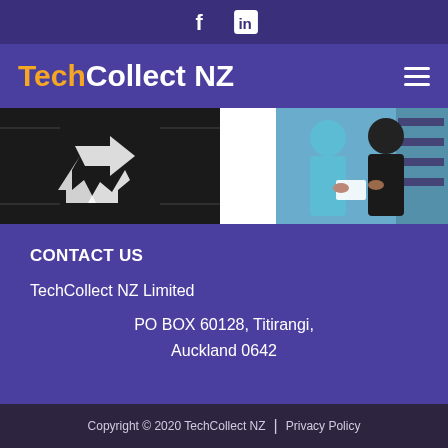f  in
TechCollect NZ
[Figure (photo): Left: recycling symbol on dark background with circuit board. Right: two people exchanging paper/document at a counter with electronics in background.]
CONTACT US
TechCollect NZ Limited
PO BOX 60128, Titirangi,
Auckland 0642
Copyright © 2020 TechCollect NZ  |  Privacy Policy